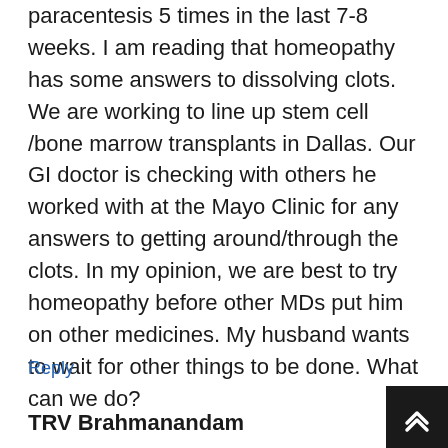paracentesis 5 times in the last 7-8 weeks. I am reading that homeopathy has some answers to dissolving clots. We are working to line up stem cell /bone marrow transplants in Dallas. Our GI doctor is checking with others he worked with at the Mayo Clinic for any answers to getting around/through the clots. In my opinion, we are best to try homeopathy before other MDs put him on other medicines. My husband wants to wait for other things to be done. What can we do?
Reply
TRV Brahmanandam